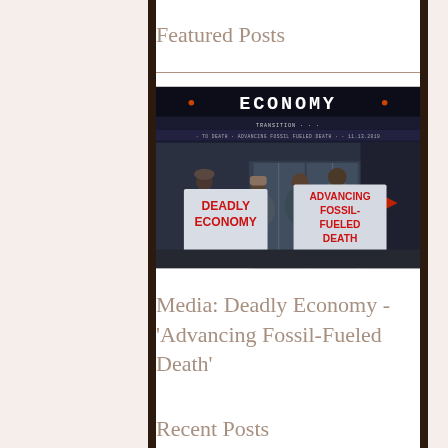Featured Posts
[Figure (photo): Protesters outside a building holding signs reading 'Deadly Economy' and 'Advancing Fossil Fueled Death' with an 'ECONOMY' digital marquee sign above them. Date shown: 11.13.2019]
Media: Deadly Economy - 'Advancing Fossil-Fueled Death'
Recent Posts